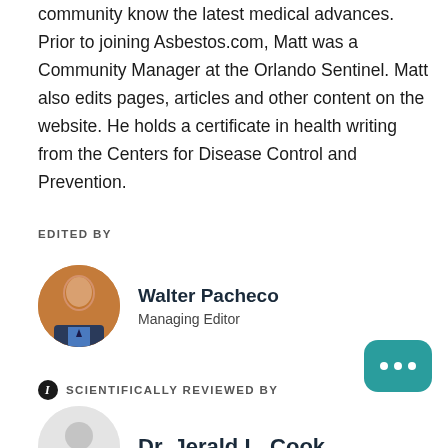community know the latest medical advances. Prior to joining Asbestos.com, Matt was a Community Manager at the Orlando Sentinel. Matt also edits pages, articles and other content on the website. He holds a certificate in health writing from the Centers for Disease Control and Prevention.
EDITED BY
[Figure (photo): Circular headshot of Walter Pacheco, a man in a suit on an orange background]
Walter Pacheco
Managing Editor
SCIENTIFICALLY REVIEWED BY
[Figure (photo): Circular placeholder avatar icon for Dr. Jerald L. Cook]
Dr. Jerald L. Cook